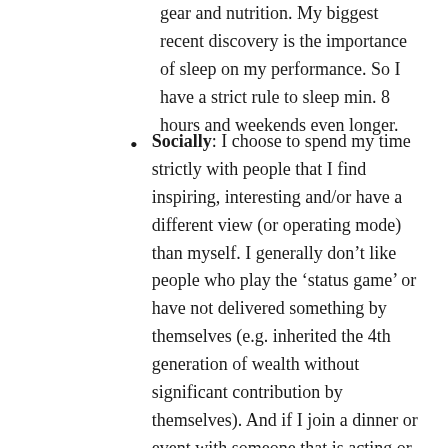gear and nutrition. My biggest recent discovery is the importance of sleep on my performance. So I have a strict rule to sleep min. 8 hours and weekends even longer.
Socially: I choose to spend my time strictly with people that I find inspiring, interesting and/or have a different view (or operating mode) than myself. I generally don't like people who play the 'status game' or have not delivered something by themselves (e.g. inherited the 4th generation of wealth without significant contribution by themselves). And if I join a dinner or event with someone that is acting or behaving against my core values, I make a choice not to meet with them in the future. Period.